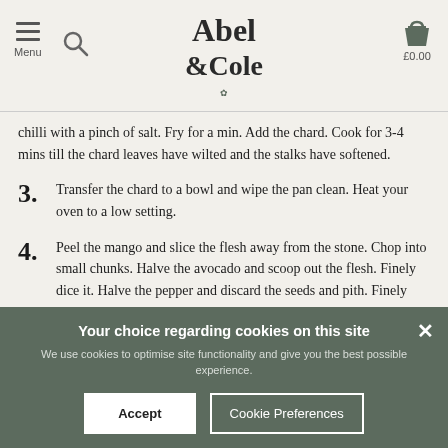Abel & Cole — Menu / Search / £0.00
chilli with a pinch of salt. Fry for a min. Add the chard. Cook for 3-4 mins till the chard leaves have wilted and the stalks have softened.
3. Transfer the chard to a bowl and wipe the pan clean. Heat your oven to a low setting.
4. Peel the mango and slice the flesh away from the stone. Chop into small chunks. Halve the avocado and scoop out the flesh. Finely dice it. Halve the pepper and discard the seeds and pith. Finely chop it. Add everything to a bowl. Juice in the lemon. Pour in ½ tbsp olive oil and season. Toss well. Shred the mint leaves and
Your choice regarding cookies on this site
We use cookies to optimise site functionality and give you the best possible experience.
Accept | Cookie Preferences